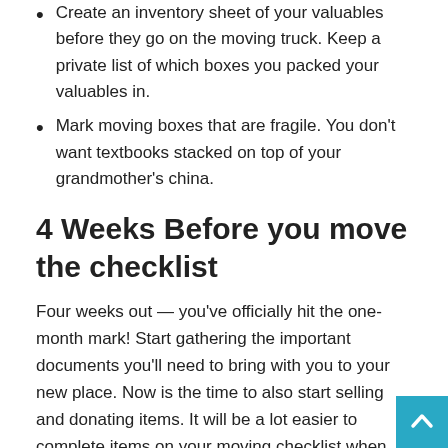Create an inventory sheet of your valuables before they go on the moving truck. Keep a private list of which boxes you packed your valuables in.
Mark moving boxes that are fragile. You don't want textbooks stacked on top of your grandmother's china.
4 Weeks Before you move the checklist
Four weeks out — you've officially hit the one-month mark! Start gathering the important documents you'll need to bring with you to your new place. Now is the time to also start selling and donating items. It will be a lot easier to complete items on your moving checklist when you aren't bogged down by possessions you aren't taking with you.
Here's what to do with four weeks left: